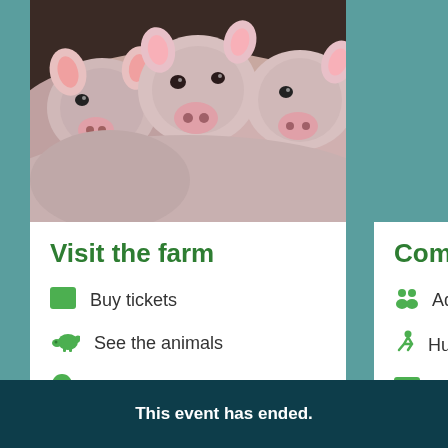[Figure (photo): Close-up photo of piglets, three piglet faces visible, pink and grey coloring]
Visit the farm
Buy tickets
See the animals
Directions to the farm
Come and Pl...
Adventure Pl...
Hungry Llama...
Bulk Ticket O...
This event has ended.